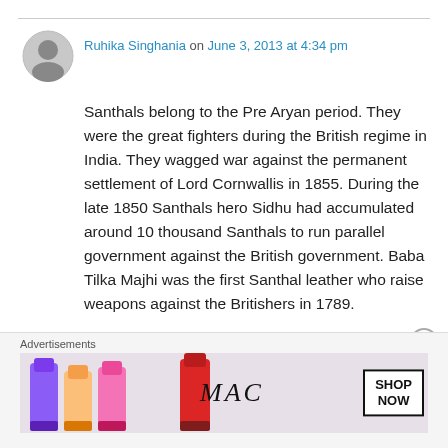[Figure (illustration): User avatar icon — grey silhouette of a person in a circle]
Ruhika Singhania on June 3, 2013 at 4:34 pm
Santhals belong to the Pre Aryan period. They were the great fighters during the British regime in India. They wagged war against the permanent settlement of Lord Cornwallis in 1855. During the late 1850 Santhals hero Sidhu had accumulated around 10 thousand Santhals to run parallel government against the British government. Baba Tilka Majhi was the first Santhal leather who raise weapons against the Britishers in 1789.
[Figure (illustration): Close/dismiss button — circle with X]
Advertisements
[Figure (photo): MAC cosmetics advertisement banner showing lipsticks in purple, peach, and pink, MAC logo in italic, and a SHOP NOW box]